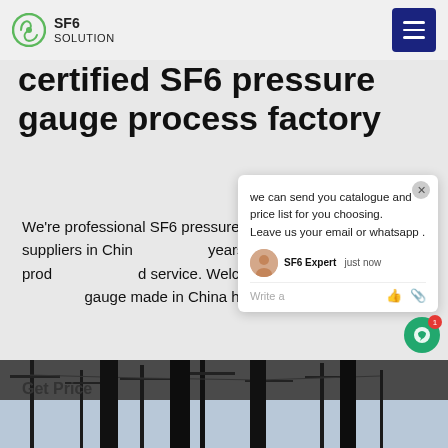SF6 SOLUTION
certified SF6 pressure gauge process factory
We're professional SF6 pressure gauge manufacturers and suppliers in China for many years, featured by customized products and good service. Welcome to buy high quality SF6 pressure gauge made in China here from our factory.
Get Price
We can send you catalogue and price list for you choosing.
Leave us your email or whatsapp .
[Figure (photo): Electrical substation with transmission towers and high-voltage equipment]
SF6 Expert   just now
Write a